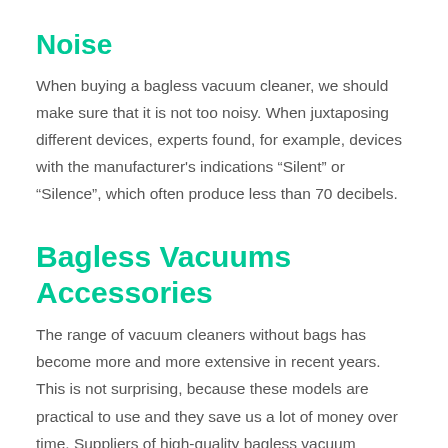Noise
When buying a bagless vacuum cleaner, we should make sure that it is not too noisy. When juxtaposing different devices, experts found, for example, devices with the manufacturer's indications “Silent” or “Silence”, which often produce less than 70 decibels.
Bagless Vacuums Accessories
The range of vacuum cleaners without bags has become more and more extensive in recent years. This is not surprising, because these models are practical to use and they save us a lot of money over time. Suppliers of high-quality bagless vacuum